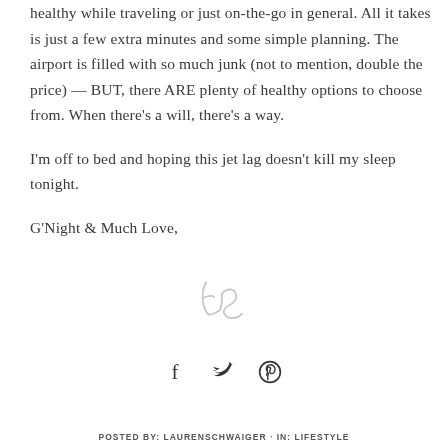healthy while traveling or just on-the-go in general. All it takes is just a few extra minutes and some simple planning. The airport is filled with so much junk (not to mention, double the price) — BUT, there ARE plenty of healthy options to choose from. When there's a will, there's a way.
I'm off to bed and hoping this jet lag doesn't kill my sleep tonight.
G'Night & Much Love,
[Figure (illustration): Cursive signature initials 'LS' in light gray]
[Figure (infographic): Social sharing icons: Facebook, Twitter, Pinterest]
POSTED BY: LAURENSCHWAIGER · IN: LIFESTYLE